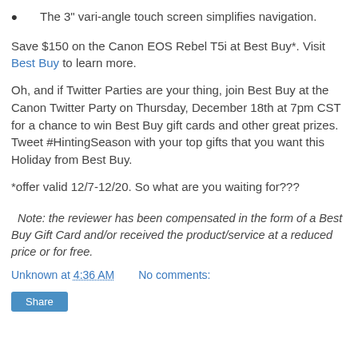The 3" vari-angle touch screen simplifies navigation.
Save $150 on the Canon EOS Rebel T5i at Best Buy*. Visit Best Buy to learn more.
Oh, and if Twitter Parties are your thing, join Best Buy at the Canon Twitter Party on Thursday, December 18th at 7pm CST for a chance to win Best Buy gift cards and other great prizes. Tweet #HintingSeason with your top gifts that you want this Holiday from Best Buy.
*offer valid 12/7-12/20. So what are you waiting for???
Note: the reviewer has been compensated in the form of a Best Buy Gift Card and/or received the product/service at a reduced price or for free.
Unknown at 4:36 AM    No comments: